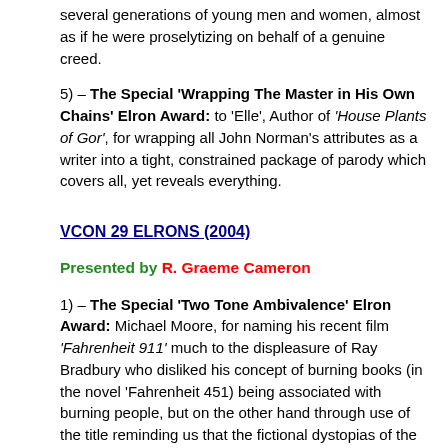several generations of young men and women, almost as if he were proselytizing on behalf of a genuine creed.
5) – The Special 'Wrapping The Master in His Own Chains' Elron Award: to 'Elle', Author of 'House Plants of Gor', for wrapping all John Norman's attributes as a writer into a tight, constrained package of parody which covers all, yet reveals everything.
VCON 29 ELRONS (2004)
Presented by R. Graeme Cameron
1) – The Special 'Two Tone Ambivalence' Elron Award: Michael Moore, for naming his recent film 'Fahrenheit 911' much to the displeasure of Ray Bradbury who disliked his concept of burning books (in the novel 'Fahrenheit 451) being associated with burning people, but on the other hand through use of the title reminding us that the fictional dystopias of the past remain very relevant to the present.